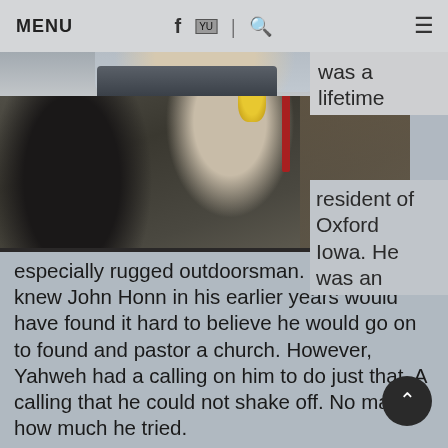MENU
[Figure (photo): Portrait photo of a man with a white beard in a suit, top portion visible, with navigation icons (f, YouTube, search) overlaid]
[Figure (photo): Photo of Pastor John Honn holding a decorative bottle with a yellow flower, in a church setting]
Pastor John Honn was a lifetime resident of Oxford Iowa.  He was an especially rugged outdoorsman.  Those who knew John Honn in his earlier years would have found it hard to believe he would go on to found and pastor a church.  However, Yahweh had a calling on him to do just that.  A calling that he could not shake off.  No matter how much he tried.
Pastor John Honn was a contractor.   Later he would modify his career to become a tent-maker.